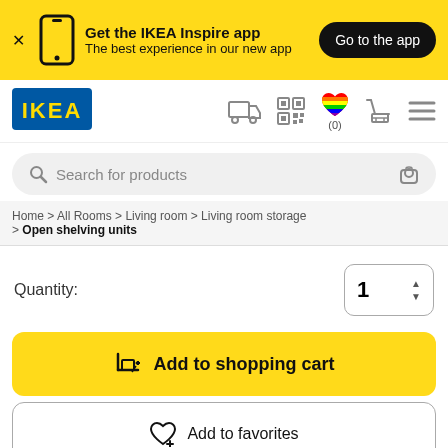[Figure (infographic): Yellow banner with phone icon, text 'Get the IKEA Inspire app – The best experience in our new app', and a black 'Go to the app' button]
[Figure (logo): IKEA logo – blue rectangle with yellow IKEA text]
[Figure (infographic): Navigation icons: delivery truck, QR code, rainbow heart with (0), shopping cart, hamburger menu]
Search for products
Home > All Rooms > Living room > Living room storage > Open shelving units
Quantity:
Add to shopping cart
Add to favorites